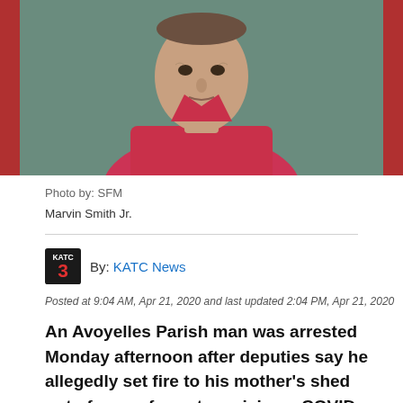[Figure (photo): Mugshot of Marvin Smith Jr., an older man wearing a pink/red shirt, against a green background with red side borders]
Photo by: SFM
Marvin Smith Jr.
By: KATC News
Posted at 9:04 AM, Apr 21, 2020 and last updated 2:04 PM, Apr 21, 2020
An Avoyelles Parish man was arrested Monday afternoon after deputies say he allegedly set fire to his mother's shed out of anger for not receiving a COVID-19 stimulus check.